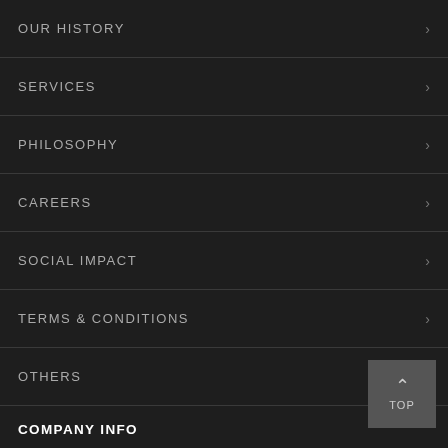OUR HISTORY
SERVICES
PHILOSOPHY
CAREERS
SOCIAL IMPACT
TERMS & CONDITIONS
OTHERS
COMPANY INFO
[Figure (illustration): Partial phone/symbol icon at bottom left]